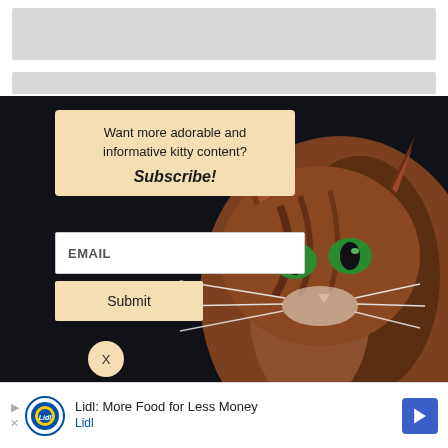[Figure (screenshot): Top gray placeholder bars representing website content above popup]
[Figure (photo): Dark popup overlay with a close-up photo of a tabby cat with green eyes on black background. Contains subscribe form with email input and submit button.]
Want more adorable and informative kitty content?
Subscribe!
EMAIL
Submit
X
Reply
X
Lidl: More Food for Less Money
Lidl